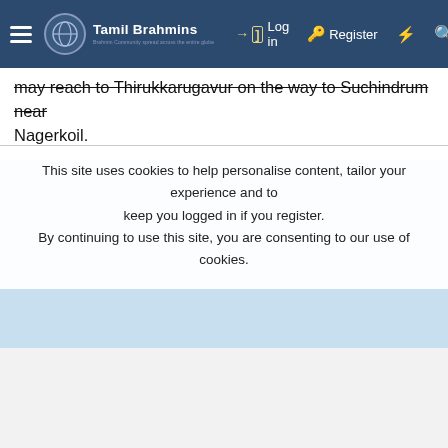Tamil Brahmins — Log in | Register
may reach to Thirukkarugavur on the way to Suchindrum near Nagerkoil.
This site uses cookies to help personalise content, tailor your experience and to keep you logged in if you register. By continuing to use this site, you are consenting to our use of cookies.